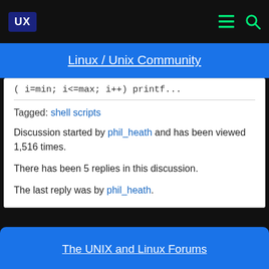Linux / Unix Community
( i=min; i<=max; i++) printf...
Tagged: shell scripts
Discussion started by phil_heath and has been viewed 1,516 times.
There has been 5 replies in this discussion.
The last reply was by phil_heath.
The UNIX and Linux Forums